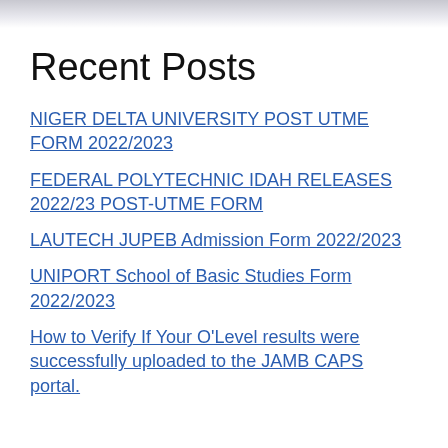Recent Posts
NIGER DELTA UNIVERSITY POST UTME FORM 2022/2023
FEDERAL POLYTECHNIC IDAH RELEASES 2022/23 POST-UTME FORM
LAUTECH JUPEB Admission Form 2022/2023
UNIPORT School of Basic Studies Form 2022/2023
How to Verify If Your O'Level results were successfully uploaded to the JAMB CAPS portal.